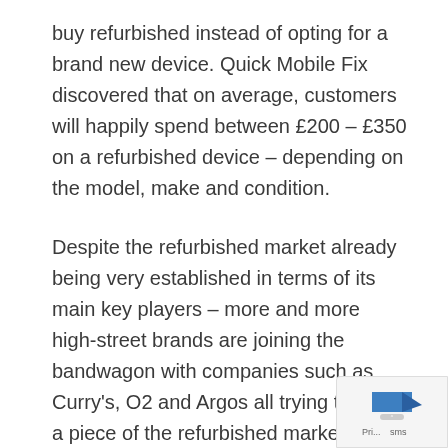buy refurbished instead of opting for a brand new device. Quick Mobile Fix discovered that on average, customers will happily spend between £200 – £350 on a refurbished device – depending on the model, make and condition.
Despite the refurbished market already being very established in terms of its main key players – more and more high-street brands are joining the bandwagon with companies such as Curry's, O2 and Argos all trying to grab a piece of the refurbished market. It will certainly be interesting to see what new milestones the industry achieves with Black Friday and the Christmas period – and 2020 in the new year.